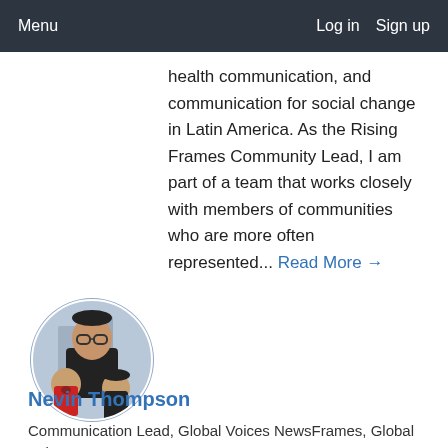Menu   Log in   Sign up
health communication, and communication for social change in Latin America. As the Rising Frames Community Lead, I am part of a team that works closely with members of communities who are more often represented... Read More →
[Figure (photo): Circular profile photo of a man with glasses and two young children outdoors]
Nevin Thompson
Communication Lead, Global Voices NewsFrames, Global Voices